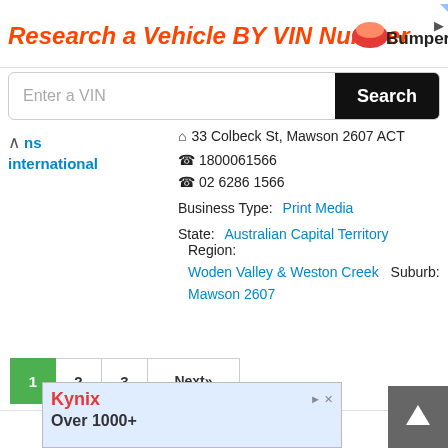[Figure (screenshot): Ad banner: 'Research a Vehicle BY VIN Number' with Bumper logo and search input field with Search button]
ns
international
33 Colbeck St, Mawson 2607 ACT
1800061566
02 6286 1566
Business Type: Print Media
State: Australian Capital Territory   Region:
Woden Valley & Weston Creek   Suburb:
Mawson 2607
1
2
3
Next»
[Figure (screenshot): Bottom Kynix advertisement banner showing 'Over 1000+']